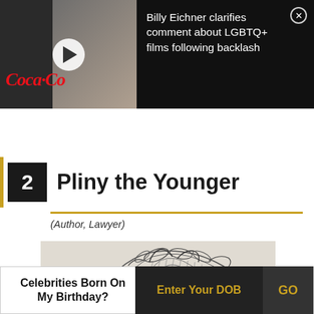[Figure (screenshot): Video thumbnail showing a man in a white suit with Coca-Cola logo, play button overlay, and black panel with news headline text 'Billy Eichner clarifies comment about LGBTQ+ films following backlash' and a close (X) button]
2  Pliny the Younger
(Author, Lawyer)
[Figure (illustration): Black and white engraving/illustration of a classical figure with flowing robes and foliage]
Celebrities Born On My Birthday?
Enter Your DOB
GO